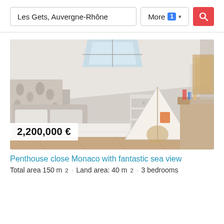Les Gets, Auvergne-Rhône
More 1 ▾
[Figure (photo): Interior bedroom photo of a penthouse with sloped ceiling, skylight window, patterned wallpaper headboard, white bedding, children's teepee tent, wooden desk and shelving in the background.]
2,200,000 €
Penthouse close Monaco with fantastic sea view
Total area 150 m² · Land area: 40 m² · 3 bedrooms